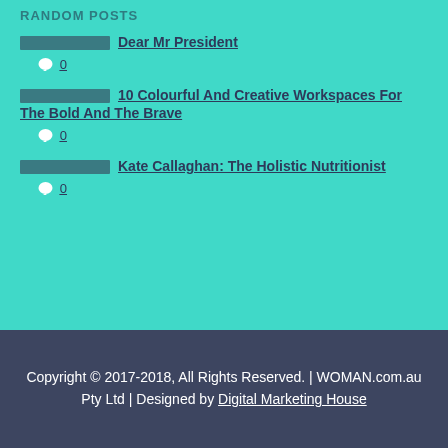RANDOM POSTS
Dear Mr President  0
10 Colourful And Creative Workspaces For The Bold And The Brave  0
Kate Callaghan: The Holistic Nutritionist  0
Copyright © 2017-2018, All Rights Reserved. | WOMAN.com.au Pty Ltd | Designed by Digital Marketing House